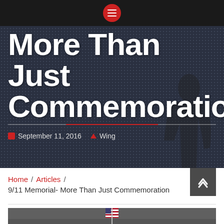Navigation menu icon
More Than Just Commemoration
September 11, 2016  Wing
Home / Articles / 9/11 Memorial- More Than Just Commemoration
[Figure (photo): American flag at the 9/11 Memorial, partial view of names engraved on memorial edge]